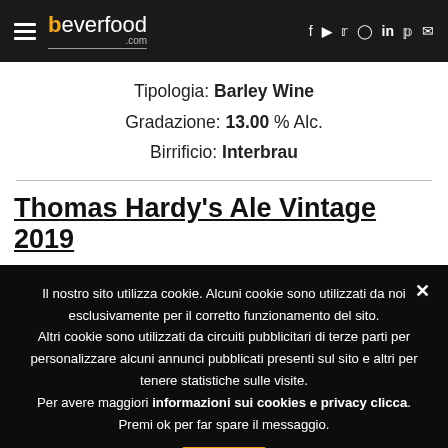beverfood.com
Tipologia: Barley Wine
Gradazione: 13.00 % Alc.
Birrificio: Interbrau
Thomas Hardy's Ale Vintage 2019
Il nostro sito utilizza cookie. Alcuni cookie sono utilizzati da noi esclusivamente per il corretto funzionamento del sito. Altri cookie sono utilizzati da circuiti pubblicitari di terze parti per personalizzare alcuni annunci pubblicati presenti sul sito e altri per tenere statistiche sulle visite. Per avere maggiori informazioni sui cookies e privacy clicca. Premi ok per far spare il messaggio.